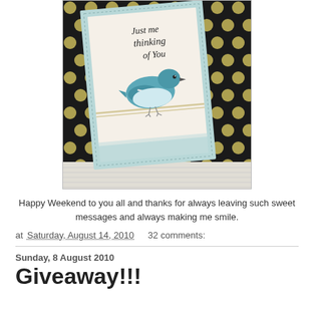[Figure (photo): A handmade greeting card featuring a blue bird and 'Just me thinking of You' script text, leaning against a black and white polka dot background. Card has a layered design with teal and cream tones, twine accent, and stitched border.]
Happy Weekend to you all and thanks for always leaving such sweet messages and always making me smile.
at Saturday, August 14, 2010   32 comments:
Sunday, 8 August 2010
Giveaway!!!